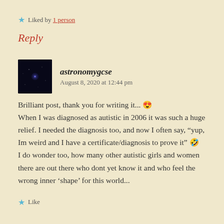★ Liked by 1 person
Reply
astronomygcse   August 8, 2020 at 12:44 pm
Brilliant post, thank you for writing it... 😊 When I was diagnosed as autistic in 2006 it was such a huge relief. I needed the diagnosis too, and now I often say, "yup, Im weird and I have a certificate/diagnosis to prove it" 🤣 I do wonder too, how many other autistic girls and women there are out there who dont yet know it and who feel the wrong inner 'shape' for this world...
★ Like